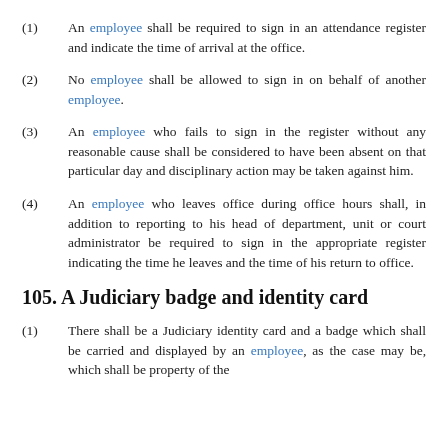(1) An employee shall be required to sign in an attendance register and indicate the time of arrival at the office.
(2) No employee shall be allowed to sign in on behalf of another employee.
(3) An employee who fails to sign in the register without any reasonable cause shall be considered to have been absent on that particular day and disciplinary action may be taken against him.
(4) An employee who leaves office during office hours shall, in addition to reporting to his head of department, unit or court administrator be required to sign in the appropriate register indicating the time he leaves and the time of his return to office.
105. A Judiciary badge and identity card
(1) There shall be a Judiciary identity card and a badge which shall be carried and displayed by an employee, as the case may be, which shall be property of the